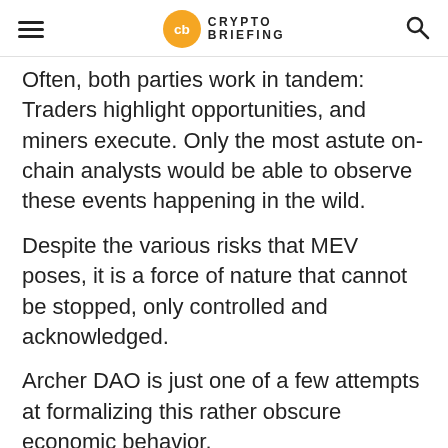Crypto Briefing
Often, both parties work in tandem: Traders highlight opportunities, and miners execute. Only the most astute on-chain analysts would be able to observe these events happening in the wild.
Despite the various risks that MEV poses, it is a force of nature that cannot be stopped, only controlled and acknowledged.
Archer DAO is just one of a few attempts at formalizing this rather obscure economic behavior.
Archer DAO: Formalizing MEV